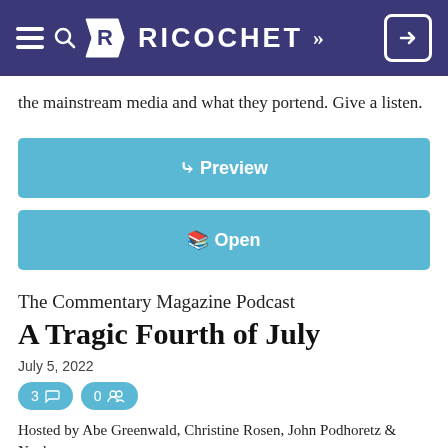RICOCHET >>
the mainstream media and what they portend. Give a listen.
✌ Preview
🔖 Open
The Commentary Magazine Podcast A Tragic Fourth of July
July 5, 2022
3 💬  0 👥
Hosted by Abe Greenwald, Christine Rosen, John Podhoretz & Noah